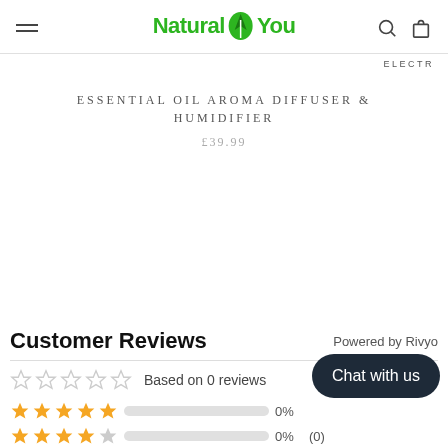Natural4You
ELECTR
ESSENTIAL OIL AROMA DIFFUSER & HUMIDIFIER
£39.99
Customer Reviews
Powered by Rivyo
Based on 0 reviews
0%
0%
(0)